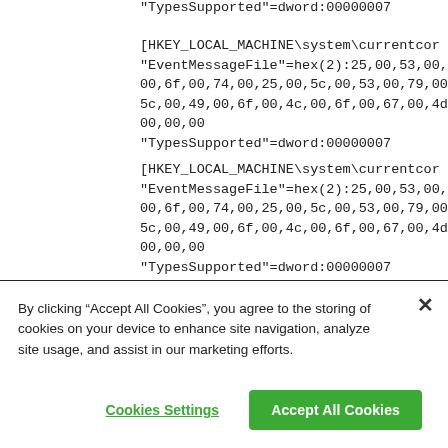"TypesSupported"=dword:00000007 (truncated/partially visible at top)
[HKEY_LOCAL_MACHINE\system\currentcor
"EventMessageFile"=hex(2):25,00,53,00,79,0
00,6f,00,74,00,25,00,5c,00,53,00,79,00,73,00
5c,00,49,00,6f,00,4c,00,6f,00,67,00,4d,00,73,
00,00,00
"TypesSupported"=dword:00000007
[HKEY_LOCAL_MACHINE\system\currentcor
"EventMessageFile"=hex(2):25,00,53,00,79,0
00,6f,00,74,00,25,00,5c,00,53,00,79,00,73,00
5c,00,49,00,6f,00,4c,00,6f,00,67,00,4d,00,73,
00,00,00
"TypesSupported"=dword:00000007
By clicking “Accept All Cookies”, you agree to the storing of cookies on your device to enhance site navigation, analyze site usage, and assist in our marketing efforts.
Cookies Settings
Accept All Cookies